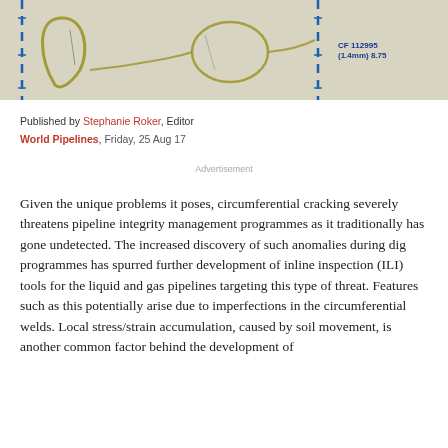[Figure (photo): Microscopic or X-ray image of a pipeline showing circumferential cracking features. Blue dashed vertical lines are visible on the left and right sides. Yellow/olive colored loop-shaped anomalies are visible. An annotation in blue text reads 'CF 112995 (1.4mm) 8.75' in the upper right corner.]
Published by Stephanie Roker, Editor
World Pipelines, Friday, 25 Aug 17
Advertisement
Given the unique problems it poses, circumferential cracking severely threatens pipeline integrity management programmes as it traditionally has gone undetected. The increased discovery of such anomalies during dig programmes has spurred further development of inline inspection (ILI) tools for the liquid and gas pipelines targeting this type of threat. Features such as this potentially arise due to imperfections in the circumferential welds. Local stress/strain accumulation, caused by soil movement, is another common factor behind the development of